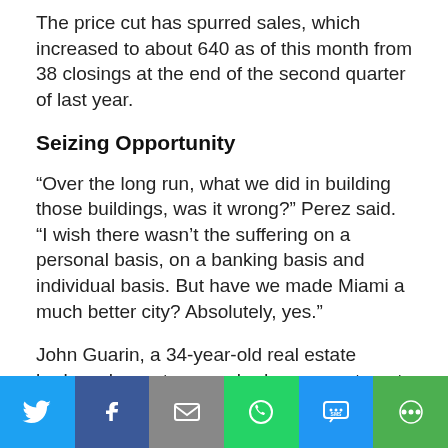The price cut has spurred sales, which increased to about 640 as of this month from 38 closings at the end of the second quarter of last year.
Seizing Opportunity
“Over the long run, what we did in building those buildings, was it wrong?” Perez said. “I wish there wasn’t the suffering on a personal basis, on a banking basis and individual basis. But have we made Miami a much better city? Absolutely, yes.”
John Guarin, a 34-year-old real estate broker who rents a one-bedroom apartment in one of the Icon towers for $1,800 a month, said he recognized early that the Miami rental market would explode.
[Figure (infographic): Social media share bar with buttons: Twitter (blue), Facebook (dark blue), Email (grey), WhatsApp (green), SMS (light blue), More (green)]